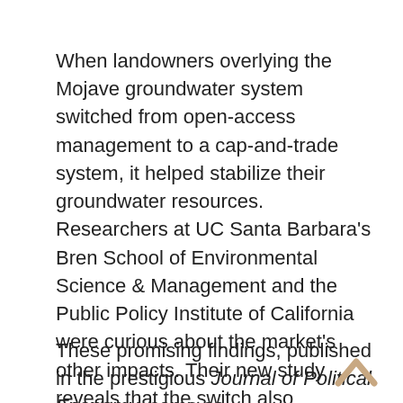When landowners overlying the Mojave groundwater system switched from open-access management to a cap-and-trade system, it helped stabilize their groundwater resources. Researchers at UC Santa Barbara's Bren School of Environmental Science & Management and the Public Policy Institute of California were curious about the market's other impacts. Their new study reveals that the switch also increased the values of properties within the groundwater market, even though the system restricted the amount of groundwater that landowners could pump. These benefits were over 10 times the initial cost of establishing the market.
These promising findings, published in the prestigious Journal of Political Economy, come as